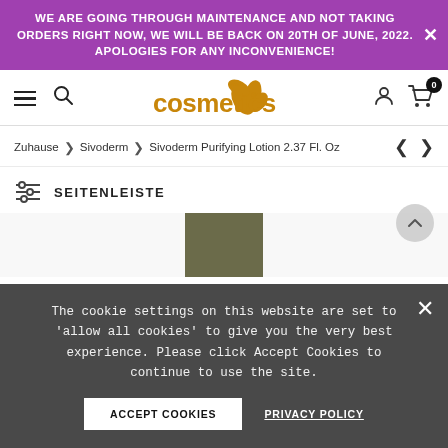WE ARE GOING THROUGH MAINTENANCE AND NOT TAKING ORDERS RIGHT NOW, WE WILL BE BACK ON 20TH OF JUNE, 2022. APOLOGIES FOR ANY INCONVENIENCE!
[Figure (logo): webcosmetics logo with orange/gold text and leaf graphic]
Zuhause > Sivoderm > Sivoderm Purifying Lotion 2.37 Fl. Oz
SEITENLEISTE
The cookie settings on this website are set to 'allow all cookies' to give you the very best experience. Please click Accept Cookies to continue to use the site.
ACCEPT COOKIES
PRIVACY POLICY